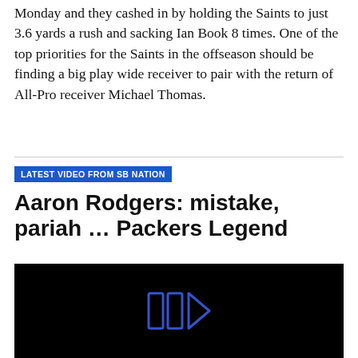Monday and they cashed in by holding the Saints to just 3.6 yards a rush and sacking Ian Book 8 times. One of the top priorities for the Saints in the offseason should be finding a big play wide receiver to pair with the return of All-Pro receiver Michael Thomas.
LATEST VIDEO FROM SB NATION
Aaron Rodgers: mistake, pariah … Packers Legend
[Figure (screenshot): Black video thumbnail with a blue/white SB Nation play button icon in the center]